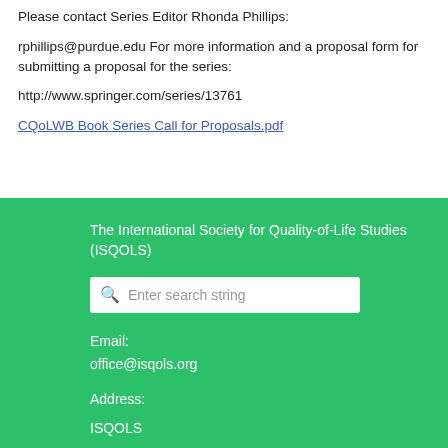Please contact Series Editor Rhonda Phillips:
rphillips@purdue.edu For more information and a proposal form for submitting a proposal for the series:
http://www.springer.com/series/13761
CQoLWB Book Series Call for Proposals.pdf
The International Society for Quality-of-Life Studies (ISQOLS)
Enter search string
Email:
office@isqols.org
Address:
ISQOLS
P.O. Box 118